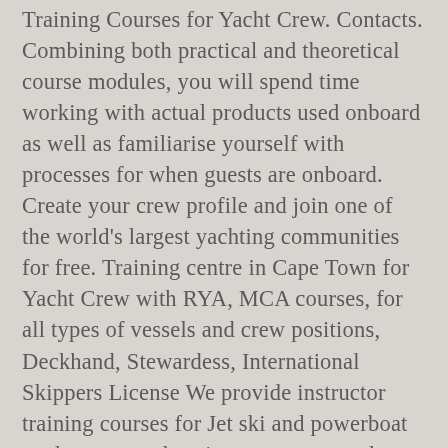Training Courses for Yacht Crew. Contacts. Combining both practical and theoretical course modules, you will spend time working with actual products used onboard as well as familiarise yourself with processes for when guests are onboard. Create your crew profile and join one of the world's largest yachting communities for free. Training centre in Cape Town for Yacht Crew with RYA, MCA courses, for all types of vessels and crew positions, Deckhand, Stewardess, International Skippers License We provide instructor training courses for Jet ski and powerboat students to work as instructors on yachts and international Schools. Dates of the course. Start your career in the superyacht industry.